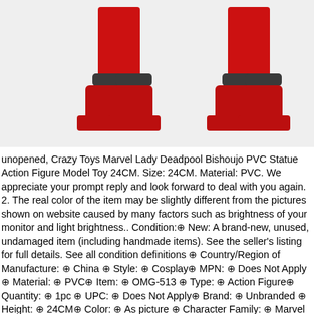[Figure (photo): Two views of red boots/feet of a Lady Deadpool action figure statue, showing red legs with dark ankle cuffs and red platform shoes, against a light gray background.]
unopened, Crazy Toys Marvel Lady Deadpool Bishoujo PVC Statue Action Figure Model Toy 24CM. Size: 24CM. Material: PVC. We appreciate your prompt reply and look forward to deal with you again. 2. The real color of the item may be slightly different from the pictures shown on website caused by many factors such as brightness of your monitor and light brightness.. Condition:⊕ New: A brand-new, unused, undamaged item (including handmade items). See the seller's listing for full details. See all condition definitions ⊕ Country/Region of Manufacture: ⊕ China ⊕ Style: ⊕ Cosplay⊕ MPN: ⊕ Does Not Apply ⊕ Material: ⊕ PVC⊕ Item: ⊕ OMG-513 ⊕ Type: ⊕ Action Figure⊕ Quantity: ⊕ 1pc ⊕ UPC: ⊕ Does Not Apply⊕ Brand: ⊕ Unbranded ⊕ Height: ⊕ 24CM⊕ Color: ⊕ As picture ⊕ Character Family: ⊕ Marvel Universe ⊕ ⊕.